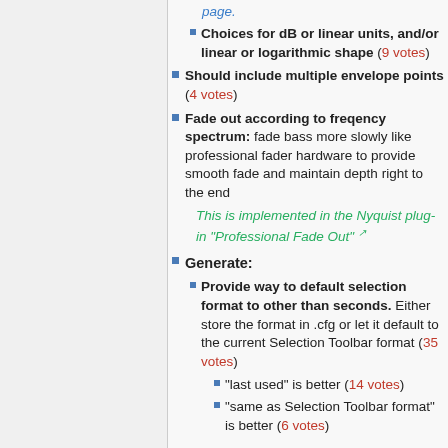page. (link)
Choices for dB or linear units, and/or linear or logarithmic shape (9 votes)
Should include multiple envelope points (4 votes)
Fade out according to freqency spectrum: fade bass more slowly like professional fader hardware to provide smooth fade and maintain depth right to the end
This is implemented in the Nyquist plug-in "Professional Fade Out" (external link)
Generate:
Provide way to default selection format to other than seconds. Either store the format in .cfg or let it default to the current Selection Toolbar format (35 votes)
"last used" is better (14 votes)
"same as Selection Toolbar format" is better (6 votes)